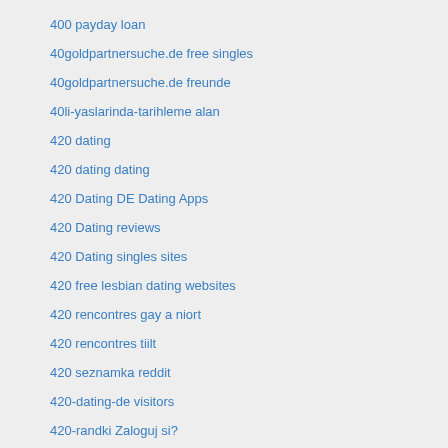400 payday loan
40goldpartnersuche.de free singles
40goldpartnersuche.de freunde
40li-yaslarinda-tarihleme alan
420 dating
420 dating dating
420 Dating DE Dating Apps
420 Dating reviews
420 Dating singles sites
420 free lesbian dating websites
420 rencontres gay a niort
420 rencontres tiilt
420 seznamka reddit
420-dating-de visitors
420-randki Zaloguj si?